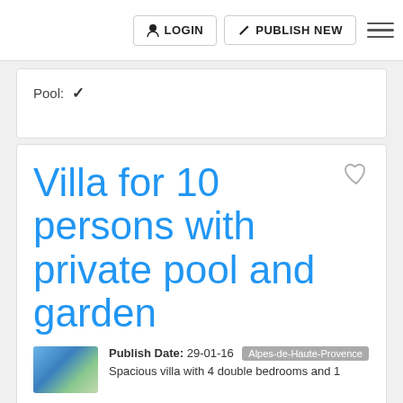LOGIN | PUBLISH NEW
Pool: ✓
Villa for 10 persons with private pool and garden
Publish Date: 29-01-16  Alpes-de-Haute-Provence
Spacious villa with 4 double bedrooms and 1